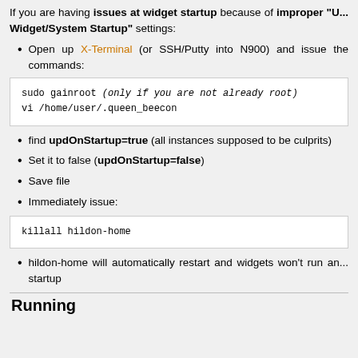If you are having issues at widget startup because of improper "U... Widget/System Startup" settings:
Open up X-Terminal (or SSH/Putty into N900) and issue the commands:
sudo gainroot (only if you are not already root)
vi /home/user/.queen_beecon
find updOnStartup=true (all instances supposed to be culprits)
Set it to false (updOnStartup=false)
Save file
Immediately issue:
killall hildon-home
hildon-home will automatically restart and widgets won't run an... startup
Running